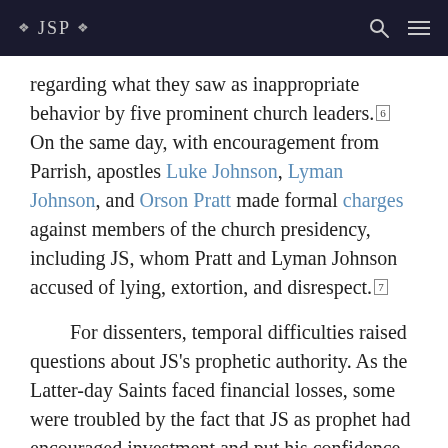JSP
regarding what they saw as inappropriate behavior by five prominent church leaders.[6] On the same day, with encouragement from Parrish, apostles Luke Johnson, Lyman Johnson, and Orson Pratt made formal charges against members of the church presidency, including JS, whom Pratt and Lyman Johnson accused of lying, extortion, and disrespect.[7]
For dissenters, temporal difficulties raised questions about JS's prophetic authority. As the Latter-day Saints faced financial losses, some were troubled by the fact that JS as prophet had encouraged investment and put his confidence in developing what turned out to be a